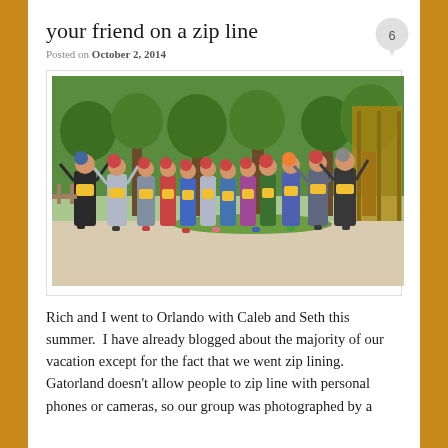your friend on a zip line
Posted on October 2, 2014
[Figure (photo): Group photo of adults and children wearing zip line harnesses and red/blue helmets, posing outdoors with trees and a wooden structure in the background at Gatorland, Orlando.]
Rich and I went to Orlando with Caleb and Seth this summer.  I have already blogged about the majority of our vacation except for the fact that we went zip lining.  Gatorland doesn't allow people to zip line with personal phones or cameras, so our group was photographed by a